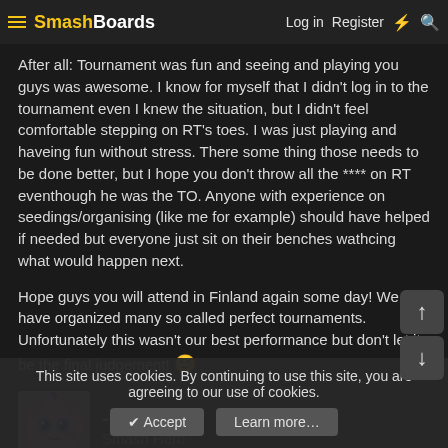SmashBoards — Log in | Register
After all: Tournament was fun and seeing and playing you guys was awesome. I know for myself that I didn't log in to the tournament even I knew the situation, but I didn't feel comfortable stepping on RT's toes. I was just playing and haveing fun without stress. There some thing those needs to be done better, but I hope you don't throw all the **** on RT eventhough he was the TO. Anyone with experience on seedings/organising (like me for example) should have helped if needed but everyone just sit on their benches wathcing what would happen next.
Hope guys you will attend in Finland again some day! We have organized many so called perfect tournaments. Unfortunately this wasn't our best performance but don't let it be the final judgement! 🙂
-LzR-
Smash Hero
May 2, 2011   #30
Not us guys, the damn tournament organizers who obviously we…
This site uses cookies. By continuing to use this site, you are agreeing to our use of cookies.